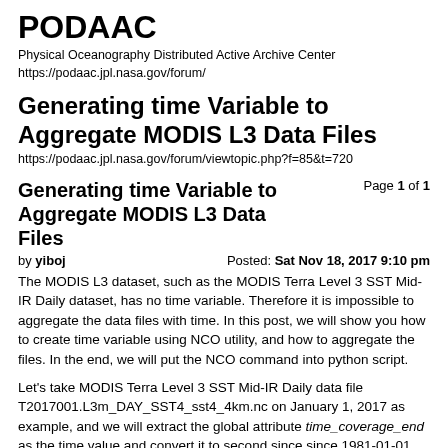PODAAC
Physical Oceanography Distributed Active Archive Center
https://podaac.jpl.nasa.gov/forum/
Generating time Variable to Aggregate MODIS L3 Data Files
https://podaac.jpl.nasa.gov/forum/viewtopic.php?f=85&t=720
Generating time Variable to Aggregate MODIS L3 Data Files
Page 1 of 1
by yiboj	Posted: Sat Nov 18, 2017 9:10 pm
The MODIS L3 dataset, such as the MODIS Terra Level 3 SST Mid-IR Daily dataset, has no time variable. Therefore it is impossible to aggregate the data files with time. In this post, we will show you how to create time variable using NCO utility, and how to aggregate the files. In the end, we will put the NCO command into python script.
Let's take MODIS Terra Level 3 SST Mid-IR Daily data file T2017001.L3m_DAY_SST4_sst4_4km.nc on January 1, 2017 as example, and we will extract the global attribute time_coverage_end as the time value and convert it to second since since 1981-01-01 00:00:00.